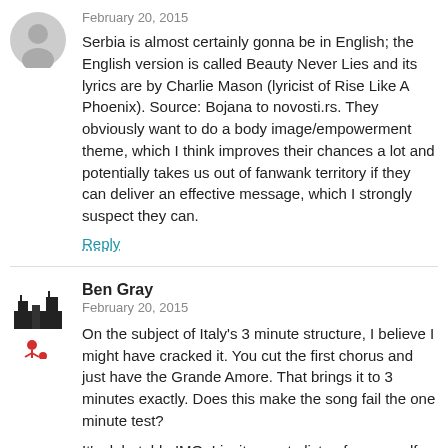February 20, 2015
Serbia is almost certainly gonna be in English; the English version is called Beauty Never Lies and its lyrics are by Charlie Mason (lyricist of Rise Like A Phoenix). Source: Bojana to novosti.rs. They obviously want to do a body image/empowerment theme, which I think improves their chances a lot and potentially takes us out of fanwank territory if they can deliver an effective message, which I strongly suspect they can.
Reply
Ben Gray
February 20, 2015
On the subject of Italy’s 3 minute structure, I believe I might have cracked it. You cut the first chorus and just have the Grande Amore. That brings it to 3 minutes exactly. Does this make the song fail the one minute test?
It’s debatable IMO. I invite you to listen for yourself. Bear in mind this a rough edit that I’ve done, so the transition into the second verse WILL sound jarring. Professionals will do better.
https://dl.dropboxusercontent.com/u/3010319/grandeamore.3mins.mp3